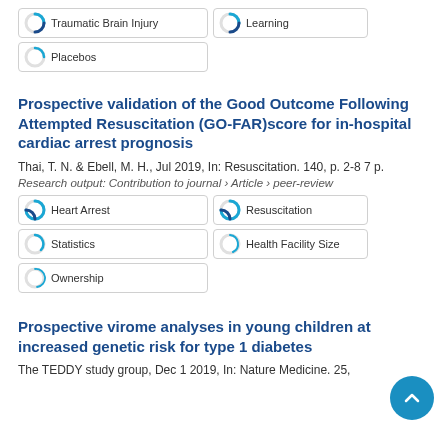Traumatic Brain Injury
Learning
Placebos
Prospective validation of the Good Outcome Following Attempted Resuscitation (GO-FAR)score for in-hospital cardiac arrest prognosis
Thai, T. N. & Ebell, M. H., Jul 2019, In: Resuscitation. 140, p. 2-8 7 p.
Research output: Contribution to journal › Article › peer-review
Heart Arrest
Resuscitation
Statistics
Health Facility Size
Ownership
Prospective virome analyses in young children at increased genetic risk for type 1 diabetes
The TEDDY study group, Dec 1 2019, In: Nature Medicine. 25,